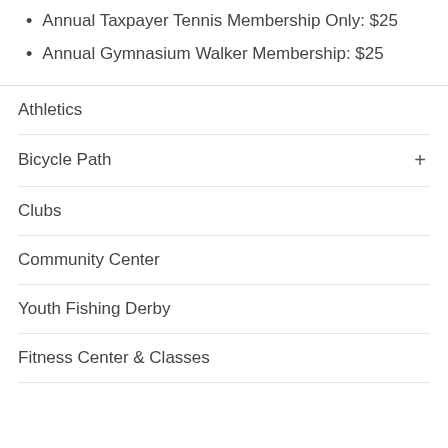Annual Taxpayer Tennis Membership Only: $25
Annual Gymnasium Walker Membership: $25
Athletics
Bicycle Path
Clubs
Community Center
Youth Fishing Derby
Fitness Center & Classes